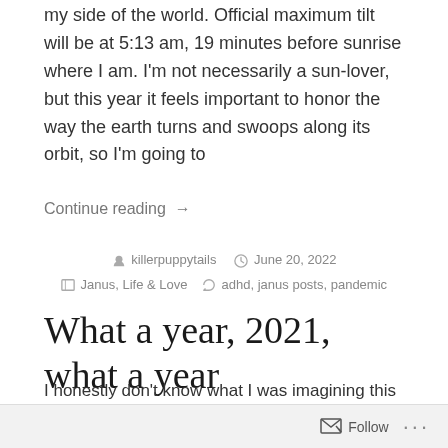my side of the world. Official maximum tilt will be at 5:13 am, 19 minutes before sunrise where I am. I'm not necessarily a sun-lover, but this year it feels important to honor the way the earth turns and swoops along its orbit, so I'm going to
Continue reading →
killerpuppytails   June 20, 2022   Janus, Life & Love   adhd, janus posts, pandemic
What a year, 2021, what a year
I honestly don't know what I was imagining this year would hold by the end of 2020
Follow